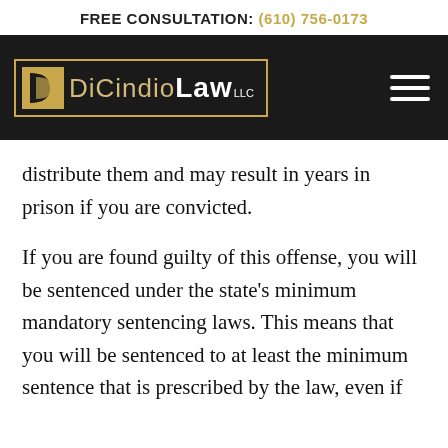FREE CONSULTATION: (610) 756-0173
[Figure (logo): DiCindio Law LLC logo on dark navigation bar with hamburger menu icon]
distribute them and may result in years in prison if you are convicted.
If you are found guilty of this offense, you will be sentenced under the state's minimum mandatory sentencing laws. This means that you will be sentenced to at least the minimum sentence that is prescribed by the law, even if